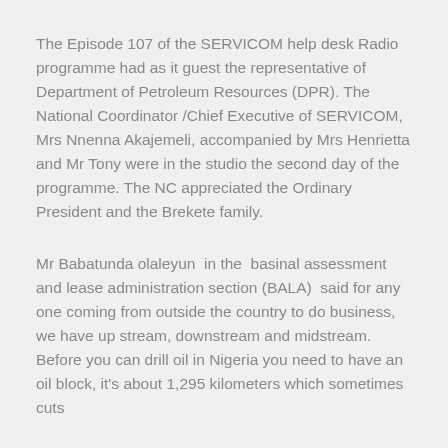The Episode 107 of the SERVICOM help desk Radio programme had as it guest the representative of Department of Petroleum Resources (DPR). The National Coordinator /Chief Executive of SERVICOM, Mrs Nnenna Akajemeli, accompanied by Mrs Henrietta and Mr Tony were in the studio the second day of the programme. The NC appreciated the Ordinary President and the Brekete family.
Mr Babatunda olaleyun  in the  basinal assessment and lease administration section (BALA)  said for any one coming from outside the country to do business, we have up stream, downstream and midstream. Before you can drill oil in Nigeria you need to have an oil block, it's about 1,295 kilometers which sometimes cuts...